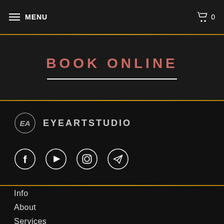MENU  |  0
BOOK ONLINE
[Figure (logo): Eye Art Studio logo: circular EA monogram with text EYEARTSTUDIO]
[Figure (infographic): Four circular social media icons: Facebook, YouTube, Instagram, Telegram]
Info
About
Services
Pre-care